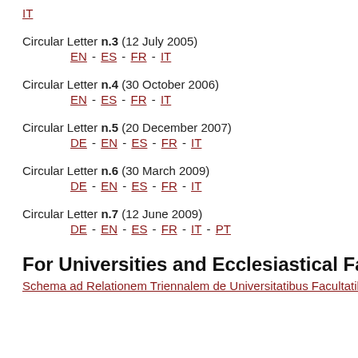IT
Circular Letter n.3 (12 July 2005) EN - ES - FR - IT
Circular Letter n.4 (30 October 2006) EN - ES - FR - IT
Circular Letter n.5 (20 December 2007) DE - EN - ES - FR - IT
Circular Letter n.6 (30 March 2009) DE - EN - ES - FR - IT
Circular Letter n.7 (12 June 2009) DE - EN - ES - FR - IT - PT
For Universities and Ecclesiastical Facultie…
Schema ad Relationem Triennalem de Universitatibus Facultatib…